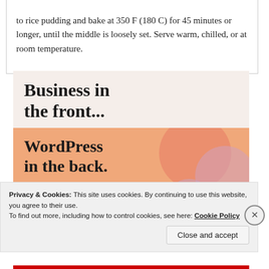to rice pudding and bake at 350 F (180 C) for 45 minutes or longer, until the middle is loosely set. Serve warm, chilled, or at room temperature.
[Figure (screenshot): Advertisement banner showing 'Business in the front...' text on a light peach background, with a WordPress advertisement below showing 'WordPress in the back.' text on an orange gradient background with colorful blob shapes.]
Privacy & Cookies: This site uses cookies. By continuing to use this website, you agree to their use.
To find out more, including how to control cookies, see here: Cookie Policy